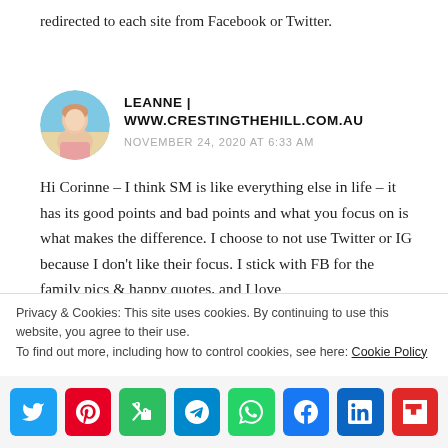redirected to each site from Facebook or Twitter.
LEANNE | WWW.CRESTINGTHEHILL.COM.AU
NOVEMBER 24, 2020 AT 6:33 AM
[Figure (photo): Circular avatar photo of a woman with blonde hair, outdoors background]
Hi Corinne – I think SM is like everything else in life – it has its good points and bad points and what you focus on is what makes the difference. I choose to not use Twitter or IG because I don't like their focus. I stick with FB for the family pics & happy quotes, and I love
Privacy & Cookies: This site uses cookies. By continuing to use this website, you agree to their use.
To find out more, including how to control cookies, see here: Cookie Policy